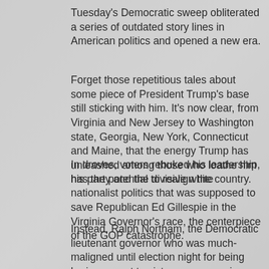Tuesday's Democratic sweep obliterated a series of outdated story lines in American politics and opened a new era.
Forget those repetitious tales about some piece of President Trump's base still sticking with him. It's now clear, from Virginia and New Jersey to Washington state, Georgia, New York, Connecticut and Maine, that the energy Trump has unleashed among those who loathe him has the potential to realign the country.
In droves, voters rebuked his leadership, his party and the divisive white nationalist politics that was supposed to save Republican Ed Gillespie in the Virginia Governor's race, the centerpiece of the GOP catastrophe.
Instead, Ralph Northam, the Democratic lieutenant governor who was much-maligned until election night for being boring, swept to victory on a massive turnout with the largest percentage for